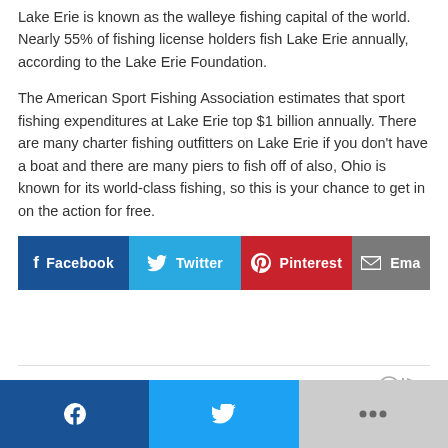Lake Erie is known as the walleye fishing capital of the world. Nearly 55% of fishing license holders fish Lake Erie annually, according to the Lake Erie Foundation.
The American Sport Fishing Association estimates that sport fishing expenditures at Lake Erie top $1 billion annually. There are many charter fishing outfitters on Lake Erie if you don't have a boat and there are many piers to fish off of also, Ohio is known for its world-class fishing, so this is your chance to get in on the action for free.
[Figure (infographic): Social share buttons row: Facebook (dark blue), Twitter (light blue), Pinterest (red), Email (gray)]
SPONSORED CONTENT
[Figure (infographic): Bottom mobile share bar: Facebook (dark blue), Twitter (light blue), More/plus (gray)]